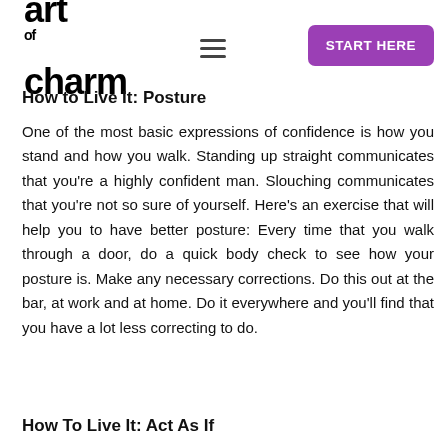art of charm — START HERE
How to Live It: Posture
One of the most basic expressions of confidence is how you stand and how you walk. Standing up straight communicates that you're a highly confident man. Slouching communicates that you're not so sure of yourself. Here's an exercise that will help you to have better posture: Every time that you walk through a door, do a quick body check to see how your posture is. Make any necessary corrections. Do this out at the bar, at work and at home. Do it everywhere and you'll find that you have a lot less correcting to do.
How To Live It: Act As If